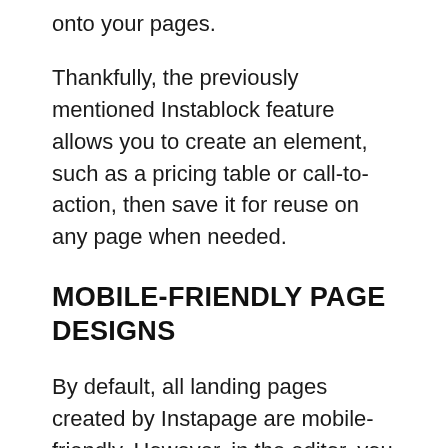onto your pages.
Thankfully, the previously mentioned Instablock feature allows you to create an element, such as a pricing table or call-to-action, then save it for reuse on any page when needed.
MOBILE-FRIENDLY PAGE DESIGNS
By default, all landing pages created by Instapage are mobile-friendly. However, in the editor, you can switch to the mobile view of a page you're working on and make changes that only mobile